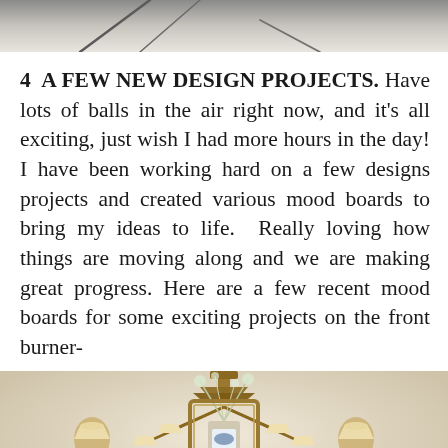[Figure (photo): Partial black and white photo at top of page, appears to show a person or figure outdoors]
4  A FEW NEW DESIGN PROJECTS.  Have lots of balls in the air right now, and it's all exciting, just wish I had more hours in the day! I have been working hard on a few designs projects and created various mood boards to bring my ideas to life.  Really loving how things are moving along and we are making great progress. Here are a few recent mood boards for some exciting projects on the front burner-
[Figure (photo): Interior design mood board photo showing an elegant chandelier, wall sconces, decorative mirror, and floral arrangement against a textured wall]